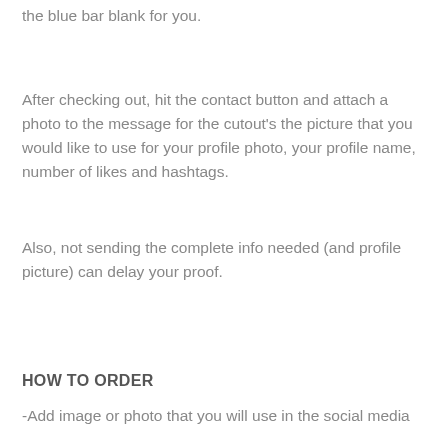the blue bar blank for you.
After checking out, hit the contact button and attach a photo to the message for the cutout’s the picture that you would like to use for your profile photo, your profile name, number of likes and hashtags.
Also, not sending the complete info needed (and profile picture) can delay your proof.
HOW TO ORDER
-Add image or photo that you will use in the social media